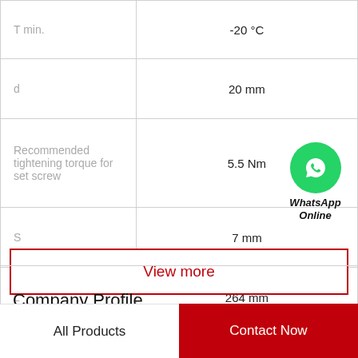| Parameter | Value |
| --- | --- |
| T min. | -20 °C |
| d | 20 mm |
| Recommended tightening torque for set screw | 5.5 Nm |
| S | 7 mm |
| L | 264 mm |
[Figure (logo): WhatsApp Online button — green circle with phone icon, italic bold text 'WhatsApp Online' below]
View more
Company Profile
All Products | Contact Now